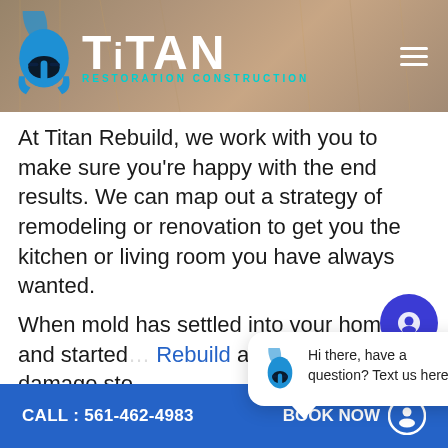[Figure (logo): Titan Restoration Construction logo with spartan helmet and bold white 'TiTAN' text, 'RESTORATION CONSTRUCTION' subtitle in cyan]
At Titan Rebuild, we work with you to make sure you're happy with the end results. We can map out a strategy of remodeling or renovation to get you the kitchen or living room you have always wanted.
When mold has settled into your home and started... Rebuild at... damage sto... to its pre-lo...
[Figure (screenshot): Chat widget tooltip with blue spartan helmet icon and text: Hi there, have a question? Text us here.]
CALL : 561-462-4983    BOOK NOW